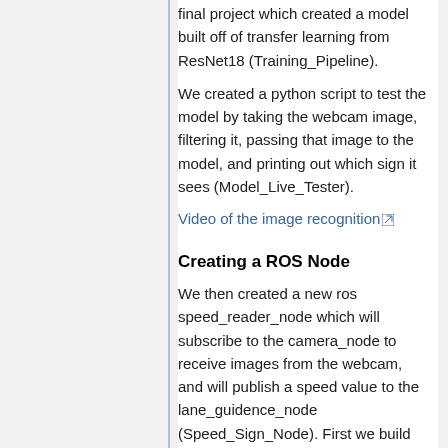final project which created a model built off of transfer learning from ResNet18 (Training_Pipeline).
We created a python script to test the model by taking the webcam image, filtering it, passing that image to the model, and printing out which sign it sees (Model_Live_Tester).
Video of the image recognition [external link]
Creating a ROS Node
We then created a new ros speed_reader_node which will subscribe to the camera_node to receive images from the webcam, and will publish a speed value to the lane_guidence_node (Speed_Sign_Node). First we build the node to get a speed value from the user and publish that value, which would then